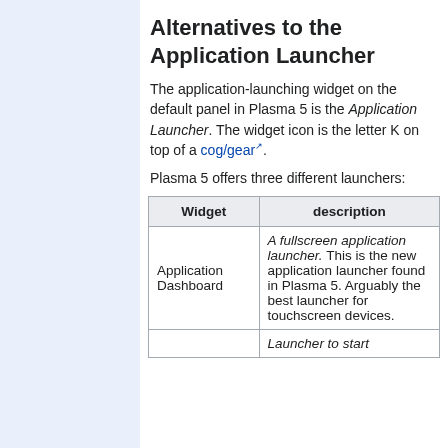Alternatives to the Application Launcher
The application-launching widget on the default panel in Plasma 5 is the Application Launcher. The widget icon is the letter K on top of a cog/gear.
Plasma 5 offers three different launchers:
| Widget | description |
| --- | --- |
| Application Dashboard | A fullscreen application launcher. This is the new application launcher found in Plasma 5. Arguably the best launcher for touchscreen devices. |
|  | Launcher to start |